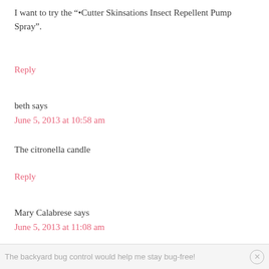I want to try the "•Cutter Skinsations Insect Repellent Pump Spray".
Reply
beth says
June 5, 2013 at 10:58 am
The citronella candle
Reply
Mary Calabrese says
June 5, 2013 at 11:08 am
The backyard bug control would help me stay bug-free!